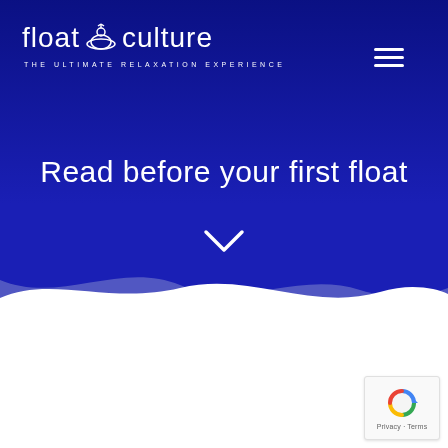[Figure (logo): Float Culture logo with bowl/lotus icon and tagline 'THE ULTIMATE RELAXATION EXPERIENCE' on dark blue background]
[Figure (other): Hamburger menu icon (three horizontal white lines) in top right corner]
Read before your first float
[Figure (illustration): White chevron/down-arrow icon below the title]
[Figure (illustration): Wave shape divider between blue hero section and white section]
[Figure (other): reCAPTCHA badge with Google logo and Privacy/Terms links]